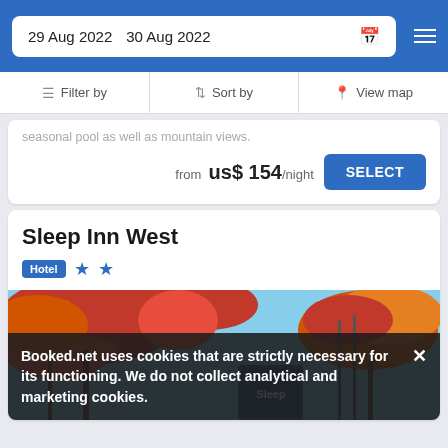29 Aug 2022  30 Aug 2022
Filter by  |  Sort by  |  View map
seasonal pool as well as mountain views.
from  us$ 154/night
SELECT
Sleep Inn West
Hotel ★★
[Figure (photo): Exterior photo of Sleep Inn West hotel with red autumn foliage trees in foreground and hotel sign visible]
Booked.net uses cookies that are strictly necessary for its functioning. We do not collect analytical and marketing cookies.